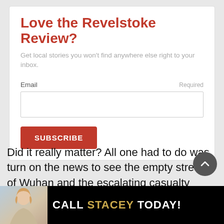Love the Revelstoke Review?
Get local stories you won't find anywhere else right to your inbox.
Did it really matter? All one had to do was turn on the news to see the empty streets of Wuhan and the escalating casualty figures.
[Figure (infographic): Advertisement banner with a woman photo and text 'CALL STACEY TODAY!' in black background]